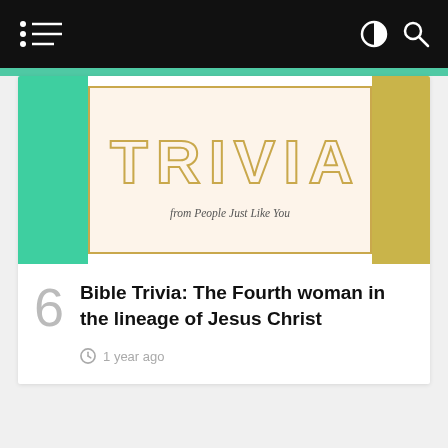Navigation bar with hamburger menu, contrast toggle, and search icon
[Figure (illustration): Bible Trivia book cover image showing 'TRIVIA' text in dotted gold letters on a cream background with gold border, flanked by teal on the left and yellow-green on the right. Subtitle reads 'from People Just Like You'.]
Bible Trivia: The Fourth woman in the lineage of Jesus Christ
1 year ago